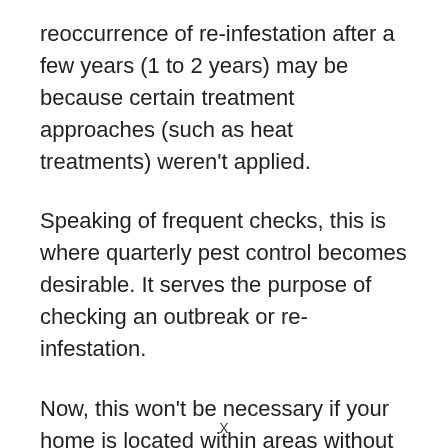reoccurrence of re-infestation after a few years (1 to 2 years) may be because certain treatment approaches (such as heat treatments) weren't applied.
Speaking of frequent checks, this is where quarterly pest control becomes desirable. It serves the purpose of checking an outbreak or re-infestation.
Now, this won't be necessary if your home is located within areas without such
x